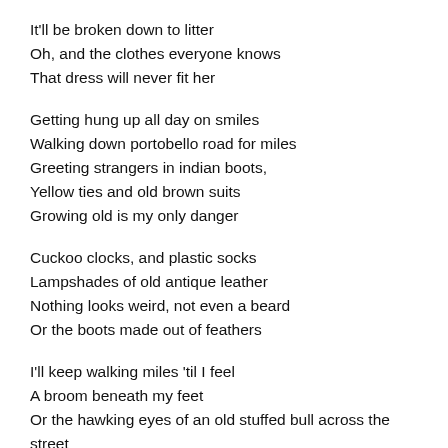It'll be broken down to litter
Oh, and the clothes everyone knows
That dress will never fit her
Getting hung up all day on smiles
Walking down portobello road for miles
Greeting strangers in indian boots,
Yellow ties and old brown suits
Growing old is my only danger
Cuckoo clocks, and plastic socks
Lampshades of old antique leather
Nothing looks weird, not even a beard
Or the boots made out of feathers
I'll keep walking miles 'til I feel
A broom beneath my feet
Or the hawking eyes of an old stuffed bull across the street